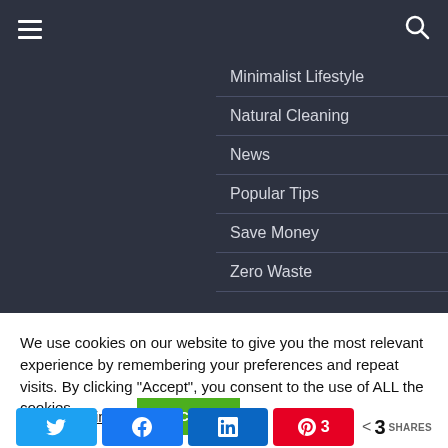☰ [menu] [search]
Minimalist Lifestyle
Natural Cleaning
News
Popular Tips
Save Money
Zero Waste
We use cookies on our website to give you the most relevant experience by remembering your preferences and repeat visits. By clicking “Accept”, you consent to the use of ALL the cookies.
Cookie settings  ACCEPT
N k in A 3  < 3 SHARES